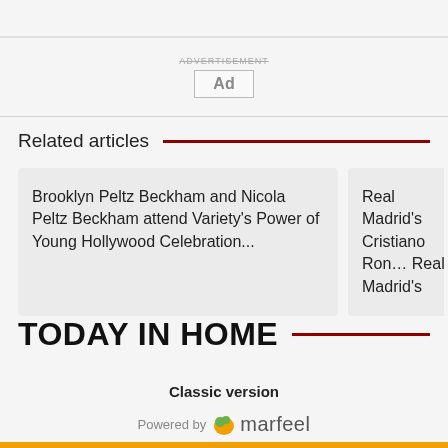ADVERTISEMENT Ad
Related articles
Brooklyn Peltz Beckham and Nicola Peltz Beckham attend Variety's Power of Young Hollywood Celebration...
Real Madrid's Cristiano Rona Real Madrid's
TODAY IN HOME
Classic version
Powered by marfeel